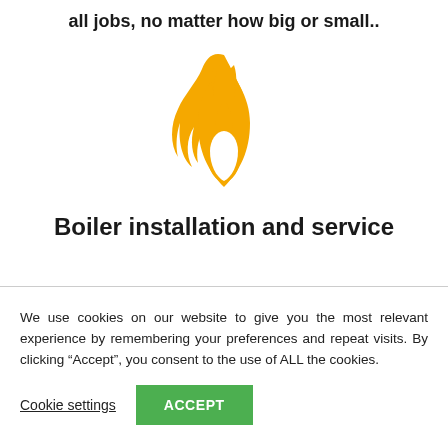all jobs, no matter how big or small..
[Figure (illustration): A flame icon in golden/amber yellow color, representing boiler/heating services.]
Boiler installation and service
We use cookies on our website to give you the most relevant experience by remembering your preferences and repeat visits. By clicking “Accept”, you consent to the use of ALL the cookies.
Cookie settings | ACCEPT